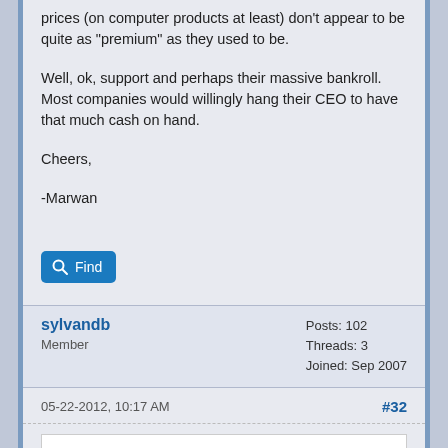prices (on computer products at least) don't appear to be quite as "premium" as they used to be.
Well, ok, support and perhaps their massive bankroll. Most companies would willingly hang their CEO to have that much cash on hand.
Cheers,
-Marwan
sylvandb
Member
Posts: 102
Threads: 3
Joined: Sep 2007
05-22-2012, 10:17 AM
#32
Quote:
Dividing that into $379 million and multiplying by 100 we see that Tim Cook's salary represents 0.35% of Apple's revenue. Of course, not all of